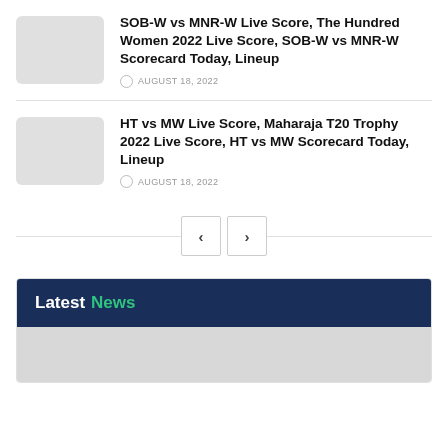SOB-W vs MNR-W Live Score, The Hundred Women 2022 Live Score, SOB-W vs MNR-W Scorecard Today, Lineup
AUGUST 18, 2022
HT vs MW Live Score, Maharaja T20 Trophy 2022 Live Score, HT vs MW Scorecard Today, Lineup
AUGUST 18, 2022
Latest News